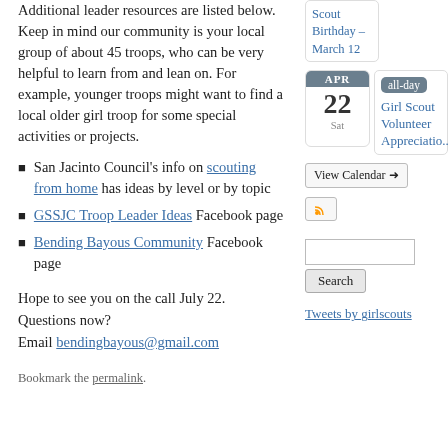Additional leader resources are listed below. Keep in mind our community is your local group of about 45 troops, who can be very helpful to learn from and lean on. For example, younger troops might want to find a local older girl troop for some special activities or projects.
San Jacinto Council's info on scouting from home has ideas by level or by topic
GSSJC Troop Leader Ideas Facebook page
Bending Bayous Community Facebook page
Hope to see you on the call July 22. Questions now? Email bendingbayous@gmail.com
Bookmark the permalink.
[Figure (other): Calendar widget showing APR 22 Sat with all-day Girl Scout Volunteer Appreciatio... event, View Calendar button, RSS button]
[Figure (other): Search box with Search button]
Tweets by girlscouts